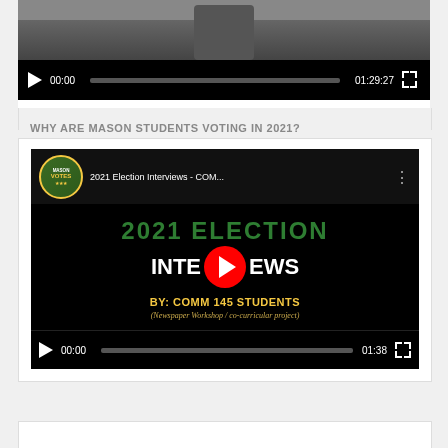[Figure (screenshot): Partial video player at top of page showing a video thumbnail with a person, video controls showing 00:00 start time and 01:29:27 total duration.]
WHY ARE MASON STUDENTS VOTING IN 2021?
[Figure (screenshot): YouTube embedded video titled '2021 Election Interviews - COM...' with Mason Votes badge logo, showing '2021 ELECTION INTERVIEWS BY: COMM 145 STUDENTS (Newspaper Workshop / co-curricular project)' text on black background with YouTube play button overlay. Video controls show 00:00 start time and 01:38 total duration.]